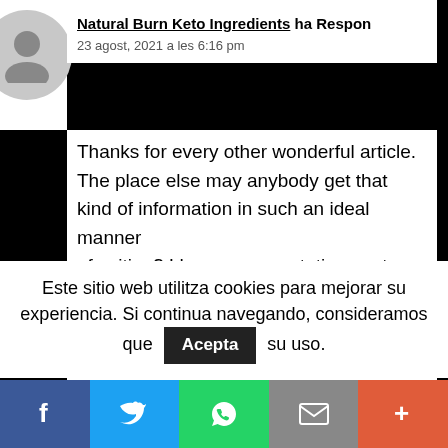Natural Burn Keto Ingredients ha Respon — 23 agost, 2021 a les 6:16 pm
Thanks for every other wonderful article. The place else may anybody get that kind of information in such an ideal manner of writing? I have a presentation next week, and I'm at the search for such info.
Feel free to visit my homepage :: Natural Burn Keto Ingredients
Este sitio web utilitza cookies para mejorar su experiencia. Si continua navegando, consideramos que Acepta su uso.